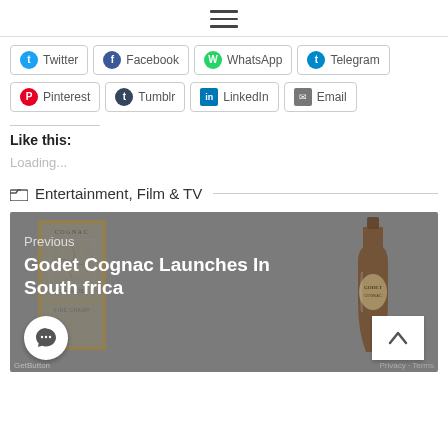☰ (hamburger menu icon)
Twitter, Facebook, WhatsApp, Telegram
Pinterest, Tumblr, LinkedIn, Email
Like this:
Loading...
Entertainment, Film & TV
[Figure (photo): Previous article promo image: Godet Cognac Launches In South Africa, showing cognac bottle and branded box on grey background]
Previous — Godet Cognac Launches In South Africa